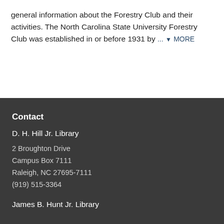general information about the Forestry Club and their activities. The North Carolina State University Forestry Club was established in or before 1931 by ... ▼ MORE
Contact
D. H. Hill Jr. Library
2 Broughton Drive
Campus Box 7111
Raleigh, NC 27695-7111
(919) 515-3364
James B. Hunt Jr. Library